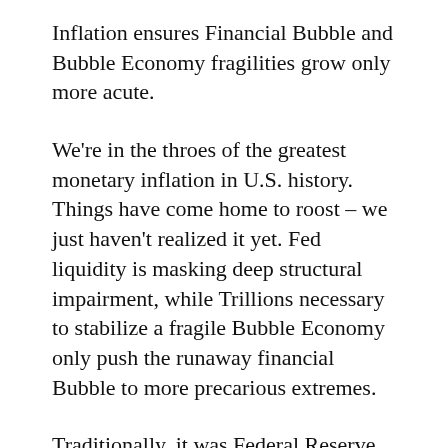Inflation ensures Financial Bubble and Bubble Economy fragilities grow only more acute.
We're in the throes of the greatest monetary inflation in U.S. history. Things have come home to roost – we just haven't realized it yet. Fed liquidity is masking deep structural impairment, while Trillions necessary to stabilize a fragile Bubble Economy only push the runaway financial Bubble to more precarious extremes.
Traditionally, it was Federal Reserve doctrine to “lean against the wind” to at